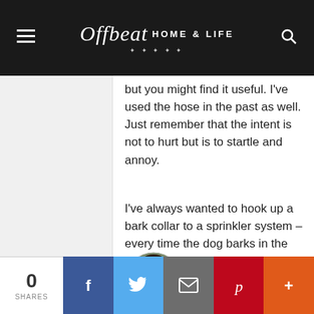Offbeat Home & Life
but you might find it useful. I've used the hose in the past as well. Just remember that the intent is not to hurt but is to startle and annoy.
I've always wanted to hook up a bark collar to a sprinkler system – every time the dog barks in the yard, they get sprayed.
SarahH says:
January 10, 2012 at 2:17 pm
Haha! We do use a spray bottle, but it doesn't always work. I kind of love spraying them with the hose – it makes
0 SHARES  f  twitter  email  pinterest  +